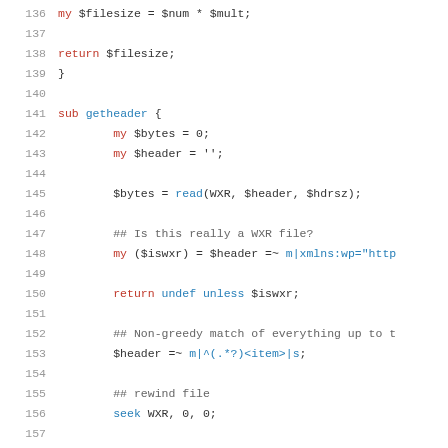Code listing lines 136-158, Perl source code showing filesize calculation and getheader subroutine